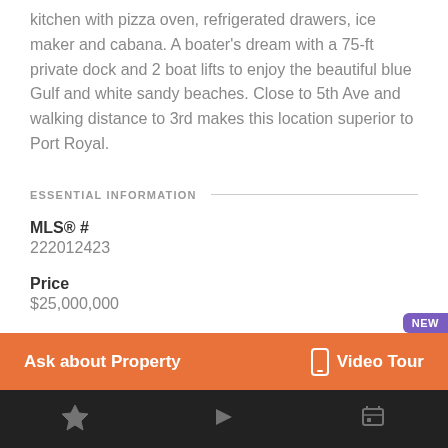kitchen with pizza oven, refrigerated drawers, ice maker and cabana. A boater's dream with a 75-ft private dock and 2 boat lifts to enjoy the beautiful blue Gulf and white sandy beaches. Close to 5th Ave and walking distance to 3rd makes this location superior to Port Royal.
ESSENTIAL INFORMATION
MLS® #
222012423
Price
$25,000,000